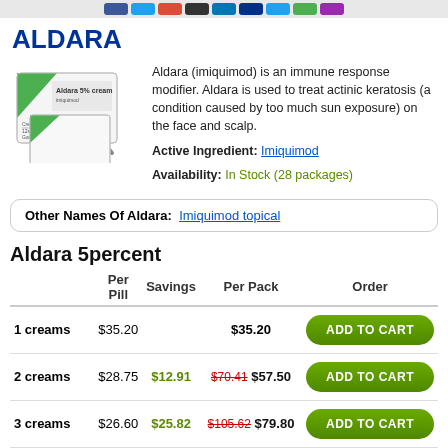[Social media icon bar]
ALDARA
Aldara (imiquimod) is an immune response modifier. Aldara is used to treat actinic keratosis (a condition caused by too much sun exposure) on the face and scalp.
Active Ingredient: Imiquimod
Availability: In Stock (28 packages)
Other Names Of Aldara: Imiquimod topical
Aldara 5percent
|  | Per Pill | Savings | Per Pack | Order |
| --- | --- | --- | --- | --- |
| 1 creams | $35.20 |  | $35.20 | ADD TO CART |
| 2 creams | $28.75 | $12.91 | $70.41 $57.50 | ADD TO CART |
| 3 creams | $26.60 | $25.82 | $105.62 $79.80 | ADD TO CART |
| 4 creams | $25.52 | $38.72 | $140.81 $102.09 | ADD TO CART |
| 5 creams | $24.00 | $56.00 | $175.00 $119.00 | ADD TO CART |